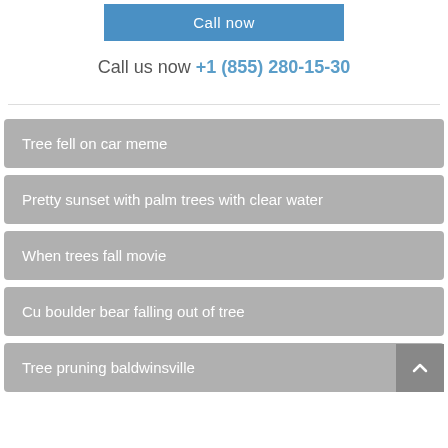[Figure (other): Blue 'Call now' button]
Call us now +1 (855) 280-15-30
Tree fell on car meme
Pretty sunset with palm trees with clear water
When trees fall movie
Cu boulder bear falling out of tree
Tree pruning baldwinsville